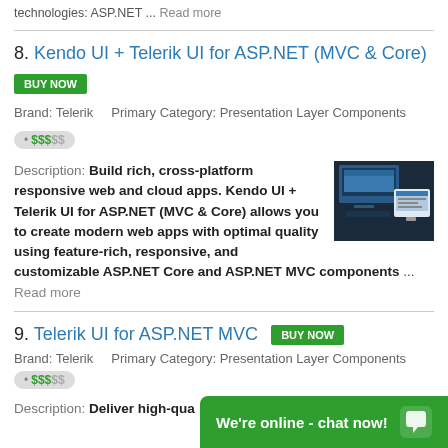technologies: ASP.NET ... Read more
8. Kendo UI + Telerik UI for ASP.NET (MVC & Core)
BUY NOW
Brand: Telerik    Primary Category: Presentation Layer Components
• $$$$$
Description: Build rich, cross-platform responsive web and cloud apps. Kendo UI + Telerik UI for ASP.NET (MVC & Core) allows you to create modern web apps with optimal quality using feature-rich, responsive, and customizable ASP.NET Core and ASP.NET MVC components ... Read more
9. Telerik UI for ASP.NET MVC
BUY NOW
Brand: Telerik    Primary Category: Presentation Layer Components
• $$$$$
Description: Deliver high-qua...
We're online - chat now!